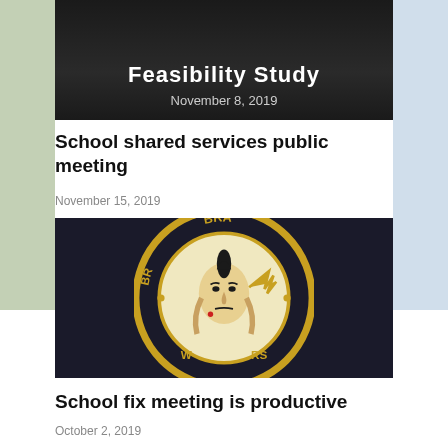[Figure (photo): Dark background slide showing 'Feasibility Study' title text and date November 8, 2019]
School shared services public meeting
November 15, 2019
[Figure (photo): School mascot logo — circular emblem with 'BRA...D' and 'W...RS' text around the border in gold and black, featuring a Native American warrior face in the center]
School fix meeting is productive
October 2, 2019